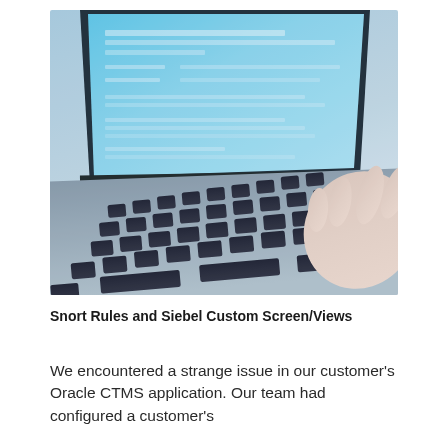[Figure (photo): Close-up photo of a person's hand typing on a laptop keyboard. The laptop screen displays what appears to be a web form or configuration interface with blue-tinted content. The image has a cool blue tone.]
Snort Rules and Siebel Custom Screen/Views
We encountered a strange issue in our customer's Oracle CTMS application. Our team had configured a customer's